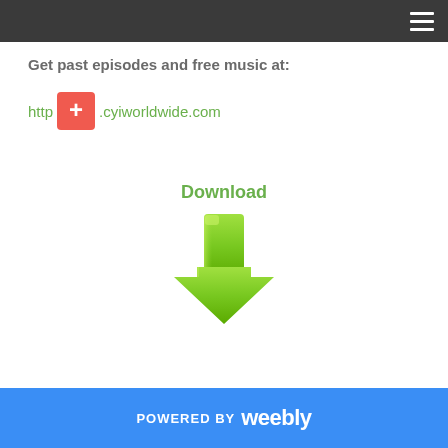Get past episodes and free music at:
http .cyiworldwide.com
[Figure (illustration): Green download arrow icon with the label 'Download' above it in green text]
POWERED BY weebly